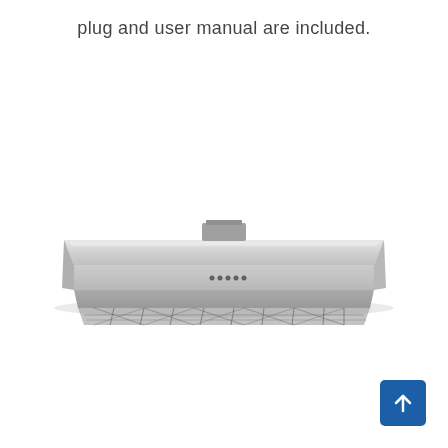plug and user manual are included.
[Figure (photo): Under-cabinet range hood / kitchen exhaust fan shown from a low-angle front view, stainless steel finish, with grease filters visible on the underside and a small control panel on the front edge.]
[Figure (other): Back-to-top navigation button: dark blue rounded square with a white upward-pointing arrow.]